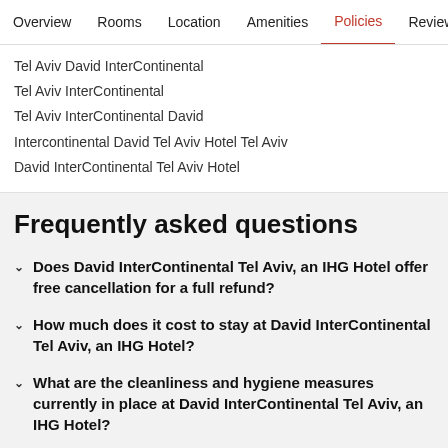Overview | Rooms | Location | Amenities | Policies | Reviews
Tel Aviv David InterContinental
Tel Aviv InterContinental
Tel Aviv InterContinental David
Intercontinental David Tel Aviv Hotel Tel Aviv
David InterContinental Tel Aviv Hotel
Frequently asked questions
Does David InterContinental Tel Aviv, an IHG Hotel offer free cancellation for a full refund?
How much does it cost to stay at David InterContinental Tel Aviv, an IHG Hotel?
What are the cleanliness and hygiene measures currently in place at David InterContinental Tel Aviv, an IHG Hotel?
Is there a pool at David InterContinental Tel Aviv